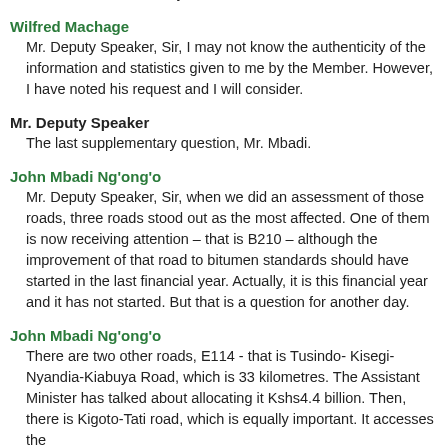country, is actually allocated with a view to sorting out the mess that has been caused by the rains?
Wilfred Machage
Mr. Deputy Speaker, Sir, I may not know the authenticity of the information and statistics given to me by the Member. However, I have noted his request and I will consider.
Mr. Deputy Speaker
The last supplementary question, Mr. Mbadi.
John Mbadi Ng'ong'o
Mr. Deputy Speaker, Sir, when we did an assessment of those roads, three roads stood out as the most affected. One of them is now receiving attention – that is B210 – although the improvement of that road to bitumen standards should have started in the last financial year. Actually, it is this financial year and it has not started. But that is a question for another day.
John Mbadi Ng'ong'o
There are two other roads, E114 - that is Tusindo- Kisegi-Nyandia-Kiabuya Road, which is 33 kilometres. The Assistant Minister has talked about allocating it Kshs4.4 billion. Then, there is Kigoto-Tati road, which is equally important. It accesses the